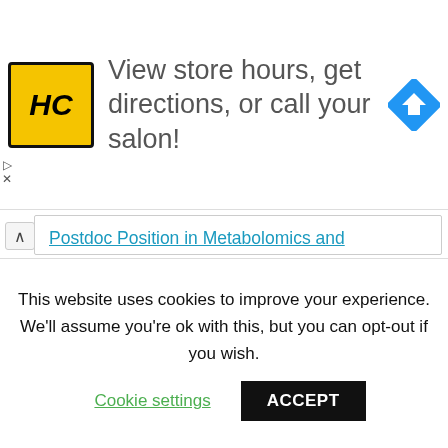[Figure (advertisement): Ad banner with HC salon logo (yellow square with HC italic text), text 'View store hours, get directions, or call your salon!', and a blue navigation diamond icon on the right.]
Postdoc Position in Metabolomics and Proteomics Biomarker´s DiscoveryDepartment:RECETOX – Faculty of ScienceDeadline:30 April 2022Job type:full-timeField of workScience and research
This website uses cookies to improve your experience. We'll assume you're ok with this, but you can opt-out if you wish.
Cookie settings   ACCEPT